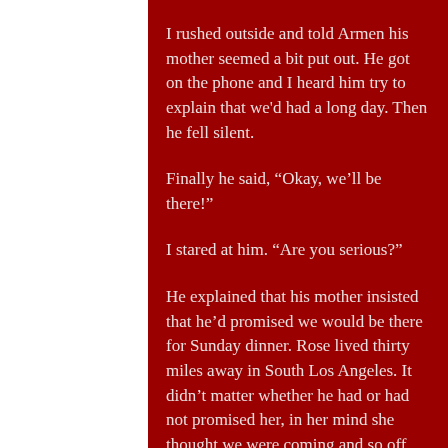I rushed outside and told Armen his mother seemed a bit put out. He got on the phone and I heard him try to explain that we'd had a long day. Then he fell silent.

Finally he said, “Okay, we’ll be there!”

I stared at him. “Are you serious?”

He explained that his mother insisted that he’d promised we would be there for Sunday dinner. Rose lived thirty miles away in South Los Angeles. It didn’t matter whether he had or had not promised her, in her mind she thought we were coming and so off we went.

Rose had prepared a feast! All Armenian dishes: Lamahjoon, Manti, homemade